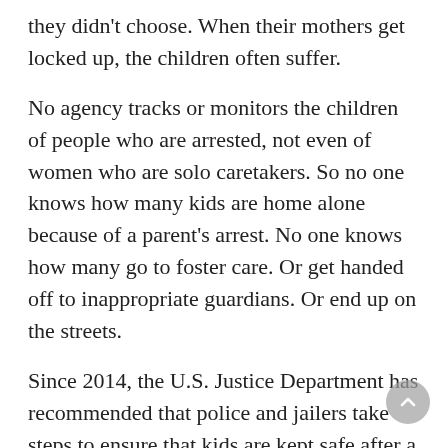they didn't choose. When their mothers get locked up, the children often suffer.
No agency tracks or monitors the children of people who are arrested, not even of women who are solo caretakers. So no one knows how many kids are home alone because of a parent's arrest. No one knows how many go to foster care. Or get handed off to inappropriate guardians. Or end up on the streets.
Since 2014, the U.S. Justice Department has recommended that police and jailers take steps to ensure that kids are kept safe after a parent is taken into custody, even if the children aren't present during the arrest.
But in and around Dallas, few police departments have adopted policies on how to handle the children of arrestees, they told us in response to a survey. Nationally, a few police departments have, experts say — but most address only kids present when the handcuffs come out.